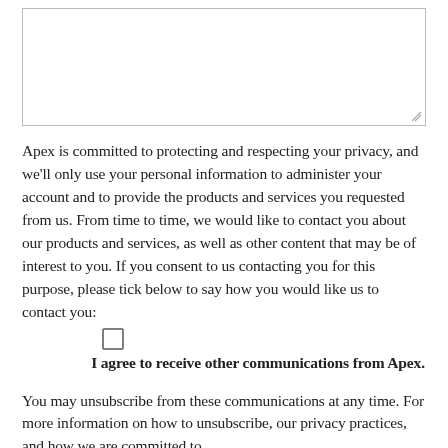[Figure (other): Empty text area input box with resize handle at bottom right]
Apex is committed to protecting and respecting your privacy, and we'll only use your personal information to administer your account and to provide the products and services you requested from us. From time to time, we would like to contact you about our products and services, as well as other content that may be of interest to you. If you consent to us contacting you for this purpose, please tick below to say how you would like us to contact you:
[Figure (other): Checkbox (unchecked)]
I agree to receive other communications from Apex.
You may unsubscribe from these communications at any time. For more information on how to unsubscribe, our privacy practices, and how we are committed to